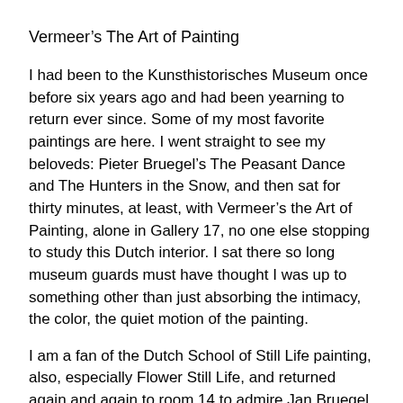Vermeer’s The Art of Painting
I had been to the Kunsthistorisches Museum once before six years ago and had been yearning to return ever since. Some of my most favorite paintings are here. I went straight to see my beloveds: Pieter Bruegel’s The Peasant Dance and The Hunters in the Snow, and then sat for thirty minutes, at least, with Vermeer’s the Art of Painting, alone in Gallery 17, no one else stopping to study this Dutch interior. I sat there so long museum guards must have thought I was up to something other than just absorbing the intimacy, the color, the quiet motion of the painting.
I am a fan of the Dutch School of Still Life painting, also, especially Flower Still Life, and returned again and again to room 14 to admire Jan Bruegel, The Elder’s, elegant arrangements of flowers.
The Dutch School of Flower Still Life